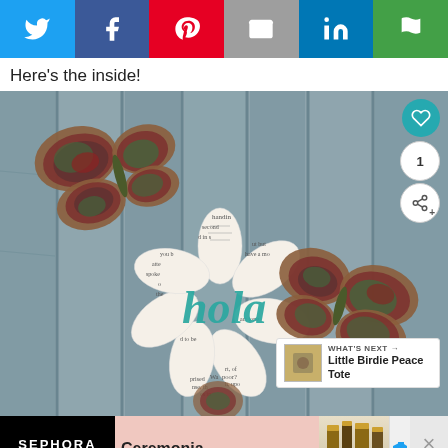[Figure (other): Social media share bar with Twitter (blue), Facebook (dark blue), Pinterest (red), Email (gray), LinkedIn (blue), and More (green) buttons]
Here's the inside!
[Figure (photo): Photo of a decorative craft item featuring butterflies made of patterned fabric/mosaic on a weathered gray wooden plank background. A flower-like shape made of book pages with 'hola' written in teal cursive is in the center. UI overlays include a teal heart button, share count of 1, share icon, and a 'What's Next: Little Birdie Peace Tote' preview box.]
[Figure (other): Sephora advertisement banner showing Sephora logo, Ceremonia product with bottles, and close button]